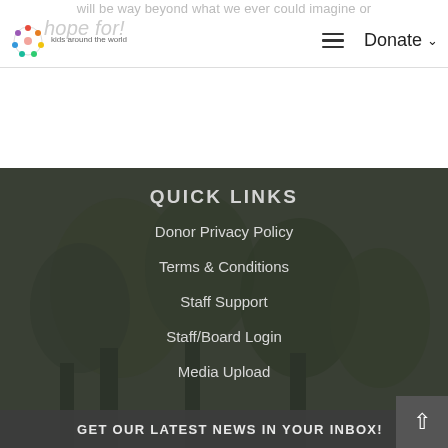will be way beyond what we ever could imagine or hope for!
kids around the world | Donate
QUICK LINKS
Donor Privacy Policy
Terms & Conditions
Staff Support
Staff/Board Login
Media Upload
GET OUR LATEST NEWS IN YOUR INBOX!